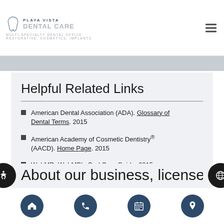Playa Vista Dental Care — Multi-Specialty Dental Office, Restorative, Cosmetics, Implants
Helpful Related Links
American Dental Association (ADA). Glossary of Dental Terms. 2015
American Academy of Cosmetic Dentistry® (AACD). Home Page. 2015
WebMD. WebMD's Oral Care Guide. 2015
About our business, license